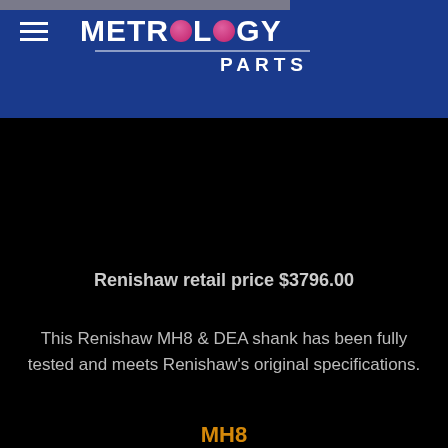[Figure (logo): Metrology Parts logo with pink dots replacing O letters, white text on blue background]
[Figure (photo): Renishaw MH8 & DEA shank probe component, metallic, on white background]
Renishaw retail price $3796.00
This Renishaw MH8 & DEA shank has been fully tested and meets Renishaw's original specifications.
MH8